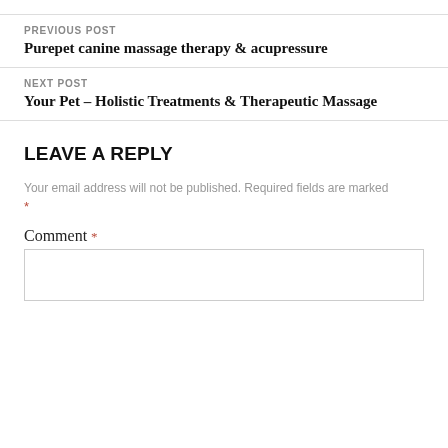PREVIOUS POST
Purepet canine massage therapy & acupressure
NEXT POST
Your Pet – Holistic Treatments & Therapeutic Massage
LEAVE A REPLY
Your email address will not be published. Required fields are marked *
Comment *